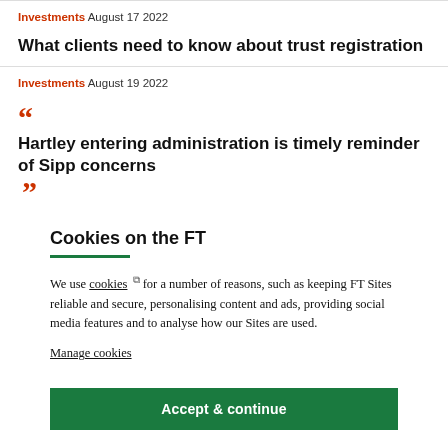Investments August 17 2022
What clients need to know about trust registration
Investments August 19 2022
Hartley entering administration is timely reminder of Sipp concerns
Cookies on the FT
We use cookies for a number of reasons, such as keeping FT Sites reliable and secure, personalising content and ads, providing social media features and to analyse how our Sites are used.
Manage cookies
Accept & continue